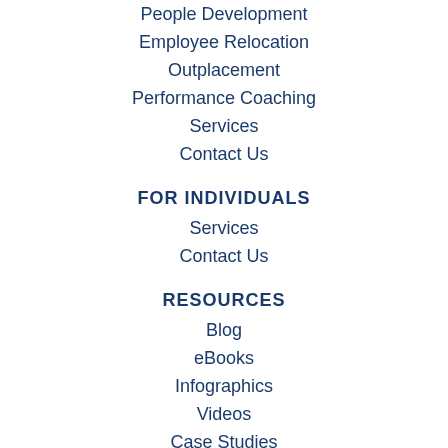People Development
Employee Relocation
Outplacement
Performance Coaching
Services
Contact Us
FOR INDIVIDUALS
Services
Contact Us
RESOURCES
Blog
eBooks
Infographics
Videos
Case Studies